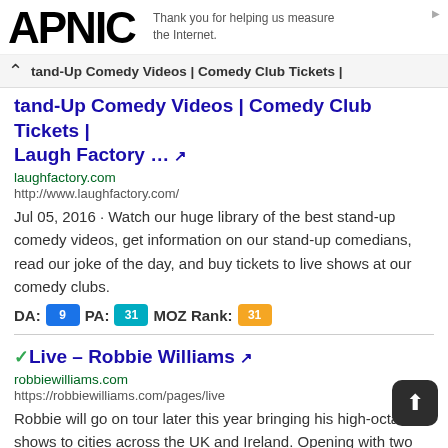APNIC — Thank you for helping us measure the Internet.
Stand-Up Comedy Videos | Comedy Club Tickets | Laugh Factory … [external link]
laughfactory.com
http://www.laughfactory.com/
Jul 05, 2016 · Watch our huge library of the best stand-up comedy videos, get information on our stand-up comedians, read our joke of the day, and buy tickets to live shows at our comedy clubs.
DA: 9 PA: 31 MOZ Rank: 31
✓Live – Robbie Williams [external link]
robbiewilliams.com
https://robbiewilliams.com/pages/live
Robbie will go on tour later this year bringing his high-octane shows to cities across the UK and Ireland. Opening with two nights at London's The O2, the autumn arena tour will be a joyous celebration of Robbie's 25 years as a solo artist. The tour will then